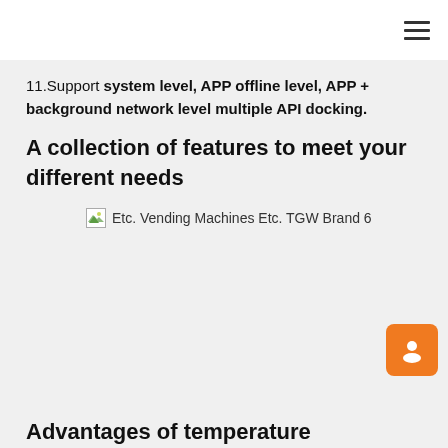11.Support system level, APP offline level, APP + background network level multiple API docking.
A collection of features to meet your different needs
[Figure (photo): Broken image placeholder with alt text: Etc. Vending Machines Etc. TGW Brand 6]
Advantages of temperature